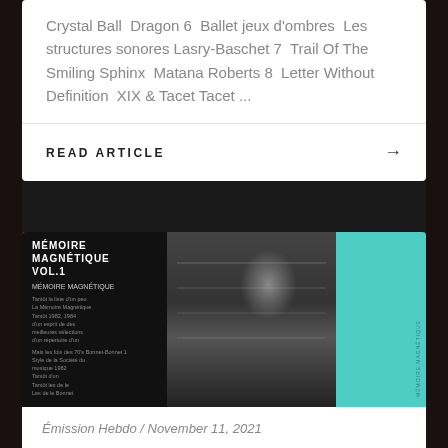Crystal Ball  Dragon 6  Ballet jeux d'ombres  Les structures sonores Lasry-Baschet 7  Trail Of The Smiling Sphinx  Matana Roberts 8  Letter Without Definition  XIX & Tacet Tacet ...
READ ARTICLE →
[Figure (photo): Black and white photo of a man in a recording studio with synthesizers and equipment. Left side shows album cover 'Mémoire Magnétique Vol.1'. Right side has a teal/turquoise panel.]
Émission Hebdo / November 11, 2021
SE0241 : Octopus Syng à Anode Cathode